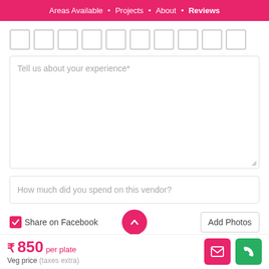Areas Available • Projects • About • Reviews
[Figure (screenshot): Row of 10 empty star rating checkbox squares]
Tell us about your experience*
How much did you spend on this vendor?
Share on Facebook
Add Photos
₹ 850 per plate
Veg price (taxes extra)